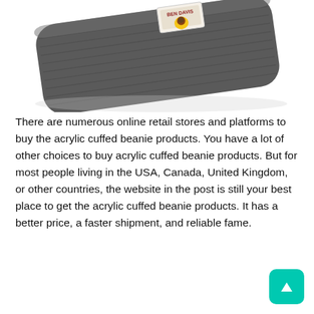[Figure (photo): A gray knit acrylic cuffed beanie hat photographed from a diagonal angle showing the Ben Davis brand patch/label on the cuff. The beanie is dark gray with a woven texture.]
There are numerous online retail stores and platforms to buy the acrylic cuffed beanie products. You have a lot of other choices to buy acrylic cuffed beanie products. But for most people living in the USA, Canada, United Kingdom, or other countries, the website in the post is still your best place to get the acrylic cuffed beanie products. It has a better price, a faster shipment, and reliable fame.